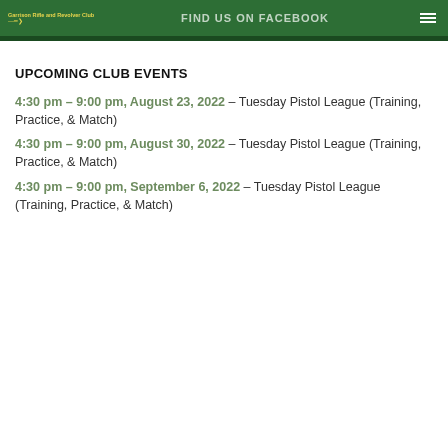Garrison Rifle and Revolver Club | FIND US ON FACEBOOK
UPCOMING CLUB EVENTS
4:30 pm – 9:00 pm, August 23, 2022 – Tuesday Pistol League (Training, Practice, & Match)
4:30 pm – 9:00 pm, August 30, 2022 – Tuesday Pistol League (Training, Practice, & Match)
4:30 pm – 9:00 pm, September 6, 2022 – Tuesday Pistol League (Training, Practice, & Match)